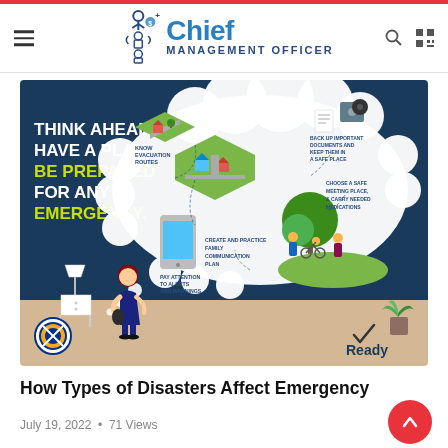Chief Management Officer
[Figure (infographic): Emergency preparedness infographic: 'THINK AHEAD, HAVE A PLAN, BE PREPARED FOR ANY EMERGENCY.' with 5 tips in a thought bubble: Know Evacuation Routes, Pay Attention to Alerts and Warnings, Create and Practice Family Communication Plan, Back Up Important Documents and Keep Them in a Safe Place, Choose a Safe Meeting Place & Carry Needed Medications. Features illustration of woman thinking, isometric maps, phone, family group, and documents. FEMA Ready logo bottom right.]
How Types of Disasters Affect Emergency Preparedness
July 19, 2022 • 71 Views